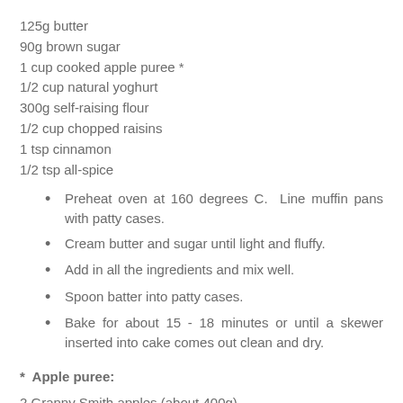125g butter
90g brown sugar
1 cup cooked apple puree *
1/2 cup natural yoghurt
300g self-raising flour
1/2 cup chopped raisins
1 tsp cinnamon
1/2 tsp all-spice
Preheat oven at 160 degrees C.  Line muffin pans with patty cases.
Cream butter and sugar until light and fluffy.
Add in all the ingredients and mix well.
Spoon batter into patty cases.
Bake for about 15 - 18 minutes or until a skewer inserted into cake comes out clean and dry.
* Apple puree:
2 Granny Smith apples (about 400g)
60g raw sugar